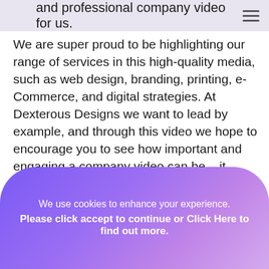and professional company video for us.
We are super proud to be highlighting our range of services in this high-quality media, such as web design, branding, printing, e-Commerce, and digital strategies. At Dexterous Designs we want to lead by example, and through this video we hope to encourage you to see how important and engaging a company video can be – it offers a strong and eye-catching medium of advertisement and connection to your current and future clients. It gives you an opportunity to highlight your work and portfolio in targeted, in-depth, and visual way. With this, it is simply an effective way of visual advertisement – instead of telling your viewers what you have achieved/created, you are showing them, which goes a long way in bringing new customers in. Finally, it summarises your website's
We use cookies to enhance your experience. Please click accept to continue or Click Here to find out more.